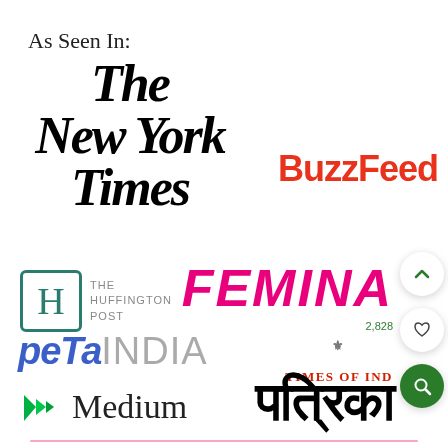As Seen In:
[Figure (logo): The New York Times logo in blackletter/gothic font]
[Figure (logo): BuzzFeed logo in bold red sans-serif]
[Figure (logo): The Huffington Post logo with H in teal box]
[Figure (logo): FEMINA logo in bold pink italic, with number 2,828]
[Figure (logo): PETA India logo in blue italic and gray text]
[Figure (logo): Times of India logo with emblem in red]
[Figure (logo): Medium logo with green M icon and Medium text]
[Figure (logo): Patrika logo in Devanagari script]